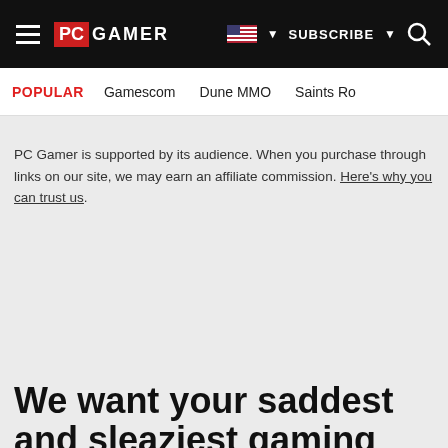PC GAMER | SUBSCRIBE | Search
POPULAR  Gamescom  Dune MMO  Saints Ro
PC Gamer is supported by its audience. When you purchase through links on our site, we may earn an affiliate commission. Here's why you can trust us.
We want your saddest and sleaziest gaming scam stories